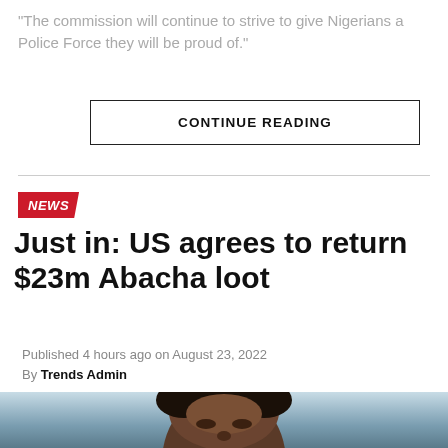"The commission will continue to strive to give Nigerians a Police Force they will be proud of."
CONTINUE READING
NEWS
Just in: US agrees to return $23m Abacha loot
Published 4 hours ago on August 23, 2022
By Trends Admin
[Figure (photo): Photograph of a person, head and upper body visible, against a light background]